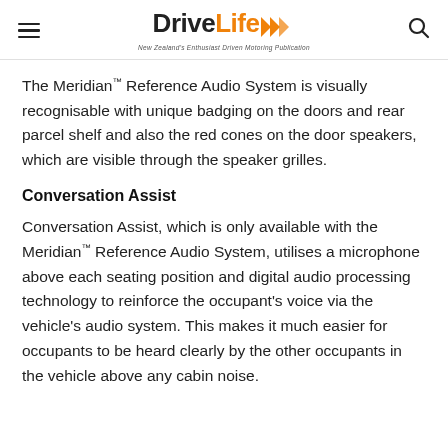DriveLife — New Zealand's Enthusiast Driven Motoring Publication
The Meridian™ Reference Audio System is visually recognisable with unique badging on the doors and rear parcel shelf and also the red cones on the door speakers, which are visible through the speaker grilles.
Conversation Assist
Conversation Assist, which is only available with the Meridian™ Reference Audio System, utilises a microphone above each seating position and digital audio processing technology to reinforce the occupant's voice via the vehicle's audio system. This makes it much easier for occupants to be heard clearly by the other occupants in the vehicle above any cabin noise.